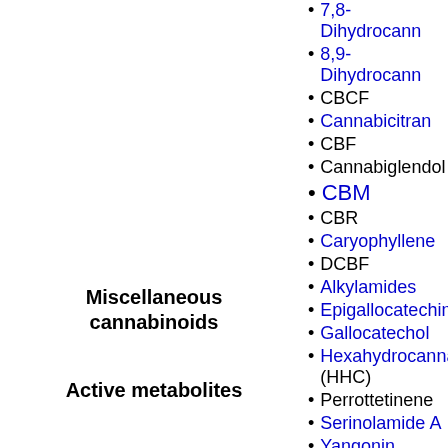Miscellaneous cannabinoids
7,8-Dihydrocann...
8,9-Dihydrocann...
CBCF
Cannabicitran
CBF
Cannabiglendol
CBM
CBR
Caryophyllene
DCBF
Alkylamides
Epigallocatechin...
Gallocatechol
Hexahydrocanna... (HHC)
Perrottetinene
Serinolamide A
Yangonin
Active metabolites
3'-OH-THC
7-OH-CBD
8,11-DiOH-THC
11-COOH-THC
11-OH-CBN
11-OH-HHC